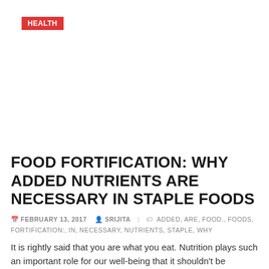Health
FOOD FORTIFICATION: WHY ADDED NUTRIENTS ARE NECESSARY IN STAPLE FOODS
FEBRUARY 13, 2017  SRIJITA  ADDED, ARE, FOOD., FOODS, FORTIFICATION:, IN, NECESSARY, NUTRIENTS, STAPLE, WHY
It is rightly said that you are what you eat. Nutrition plays such an important role for our well-being that it shouldn't be